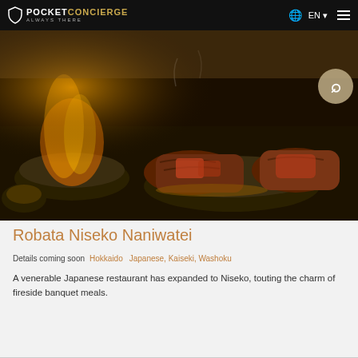POCKET CONCIERGE ALWAYS THERE | EN
[Figure (photo): Close-up photo of sizzling Japanese wagyu beef cuts on cast iron pans, with orange flames and golden sauce, dark background.]
Robata Niseko Naniwatei
Details coming soon   Hokkaido   Japanese, Kaiseki, Washoku
A venerable Japanese restaurant has expanded to Niseko, touting the charm of fireside banquet meals.